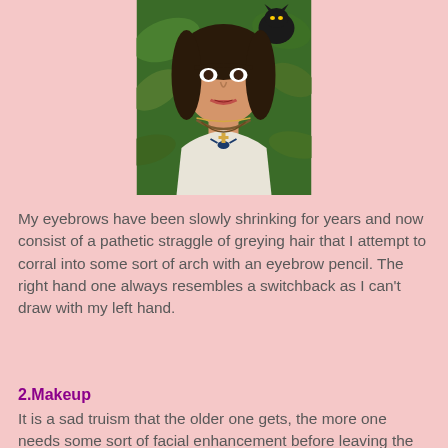[Figure (illustration): A painting of a woman (Frida Kahlo style) with dark hair, wearing a white top with vines/thorns around her neck, a hummingbird pendant, surrounded by green foliage with a black cat visible in the upper right corner.]
My eyebrows have been slowly shrinking for years and now consist of a pathetic straggle of greying hair that I attempt to corral into some sort of arch with an eyebrow pencil. The right hand one always resembles a switchback as I can't draw with my left hand.
2.Makeup
It is a sad truism that the older one gets, the more one needs some sort of facial enhancement before leaving the house. Failure to use make-up results in people asking if you are feeling OK. Or crossing the street. Or both. Too much makeup, and the elderly face resembles a cake left out in the rain: overfilled cracks and hollows, damp and patchy areas and, if one has unwisely applied rouge, what I call the Refugee from Clown Class look.